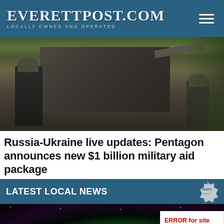EverettPost.com — Locally Owned and Operated
[Figure (photo): Soldiers in military gear inspecting or working near a large military vehicle or tank in a field with green vegetation in the background.]
Russia-Ukraine live updates: Pentagon announces new $1 billion military aid package
LATEST LOCAL NEWS
[Figure (photo): Night sky photo showing vivid green aurora borealis (northern lights) over a dark landscape.]
ERROR for site owner: Invalid do...
Wednesday, August 17